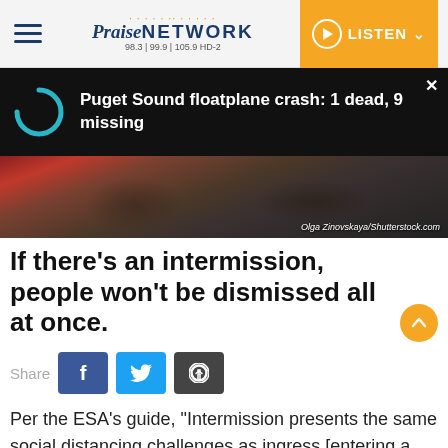Praise NETWORK 98.3 | 99.9 | 105.9 HD-2 — LISTEN
Puget Sound floatplane crash: 1 dead, 9 missing
[Figure (photo): Crowd of people inside a large auditorium or theater, with red seats visible on the left. Photo credit: Olga Zinovskaya/Shutterstock.com]
If there's an intermission, people won't be dismissed all at once.
Share
Per the ESA's guide, "Intermission presents the same social distancing challenges as ingress [entering a venue] and egress [exiting a